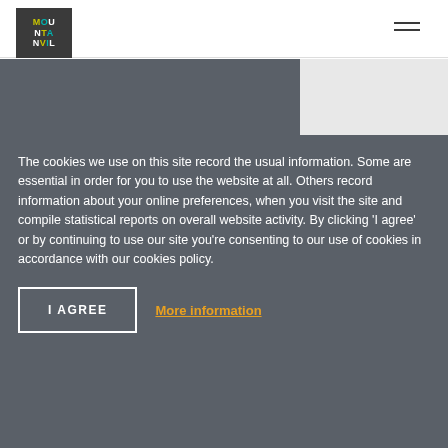[Figure (logo): Mount Anvil logo: dark background block with stylized text MOU NTA NVI L in white, yellow and teal letters]
The cookies we use on this site record the usual information. Some are essential in order for you to use the website at all. Others record information about your online preferences, when you visit the site and compile statistical reports on overall website activity. By clicking 'I agree' or by continuing to use our site you're consenting to our use of cookies in accordance with our cookies policy.
I AGREE
More information